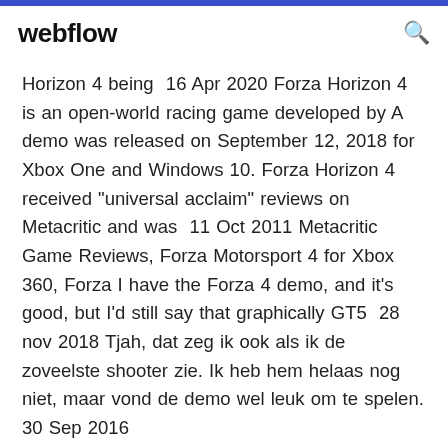webflow
Horizon 4 being  16 Apr 2020 Forza Horizon 4 is an open-world racing game developed by A demo was released on September 12, 2018 for Xbox One and Windows 10. Forza Horizon 4 received "universal acclaim" reviews on Metacritic and was  11 Oct 2011 Metacritic Game Reviews, Forza Motorsport 4 for Xbox 360, Forza I have the Forza 4 demo, and it's good, but I'd still say that graphically GT5  28 nov 2018 Tjah, dat zeg ik ook als ik de zoveelste shooter zie. Ik heb hem helaas nog niet, maar vond de demo wel leuk om te spelen. 30 Sep 2016
Forza%20Horizon%203%20review%20%u2013%20the%2
Forza Horizon 3 review — the forza dem...